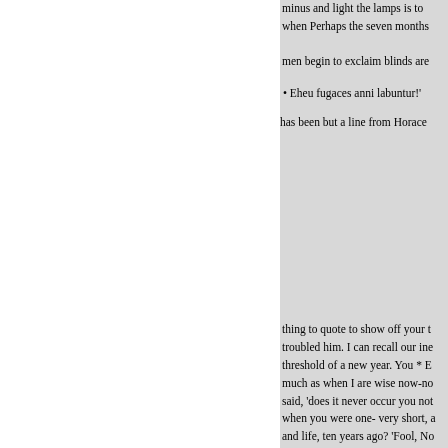minus and light the lamps is to when Perhaps the seven months men begin to exclaim blinds are
Eheu fugaces anni labuntur!' has been but a line from Horace
thing to quote to show off your troubled him. I can recall our ine threshold of a new year. You * E much as when I are wise now-no said, 'does it never occur you not when you were one- very short, a and life, ten years ago? 'Fool, No feel to have just as thoughts then accomplished ere When I was tw age. your lips, and stamping you reason why I shouldn't live to be There I know my friend well, an have time to develop his head, as mistake his case altogether. He is